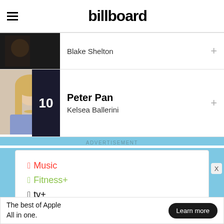billboard
Blake Shelton
10 Peter Pan
Kelsea Ballerini
ADVERTISEMENT
[Figure (infographic): Apple services advertisement showing: Music (red), Fitness+ (green), tv+ (black), News+ (pink), Arcade (orange) with Apple logo icons]
The best of Apple All in one. Learn more